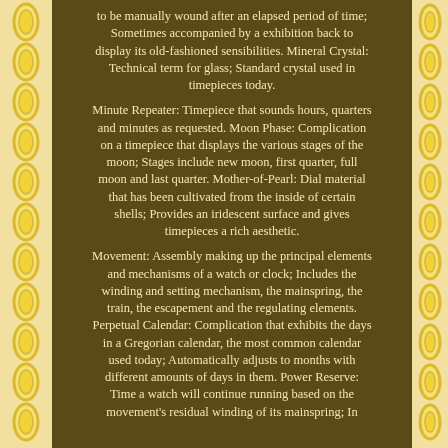to be manually wound after an elapsed period of time; Sometimes accompanied by a exhibition back to display its old-fashioned sensibilities. Mineral Crystal: Technical term for glass; Standard crystal used in timepieces today.
Minute Repeater: Timepiece that sounds hours, quarters and minutes as requested. Moon Phase: Complication on a timepiece that displays the various stages of the moon; Stages include new moon, first quarter, full moon and last quarter. Mother-of-Pearl: Dial material that has been cultivated from the inside of certain shells; Provides an iridescent surface and gives timepieces a rich aesthetic.
Movement: Assembly making up the principal elements and mechanisms of a watch or clock; Includes the winding and setting mechanism, the mainspring, the train, the escapement and the regulating elements. Perpetual Calendar: Complication that exhibits the days in a Gregorian calendar, the most common calendar used today; Automatically adjusts to months with different amounts of days in them. Power Reserve: Time a watch will continue running based on the movement's residual winding of its mainspring; In